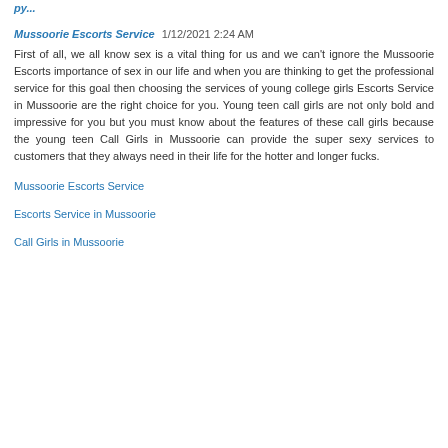Mussoorie Escorts Service  1/12/2021 2:24 AM
First of all, we all know sex is a vital thing for us and we can't ignore the Mussoorie Escorts importance of sex in our life and when you are thinking to get the professional service for this goal then choosing the services of young college girls Escorts Service in Mussoorie are the right choice for you. Young teen call girls are not only bold and impressive for you but you must know about the features of these call girls because the young teen Call Girls in Mussoorie can provide the super sexy services to customers that they always need in their life for the hotter and longer fucks.
Mussoorie Escorts Service
Escorts Service in Mussoorie
Call Girls in Mussoorie